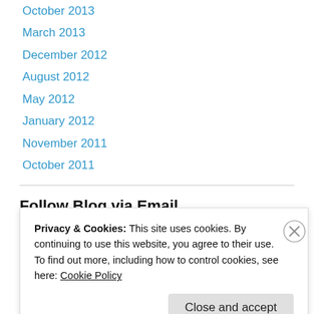October 2013
March 2013
December 2012
August 2012
May 2012
January 2012
November 2011
October 2011
Follow Blog via Email
Enter your email address to follow this blog and receive notifications of new posts by email.
Privacy & Cookies: This site uses cookies. By continuing to use this website, you agree to their use.
To find out more, including how to control cookies, see here: Cookie Policy